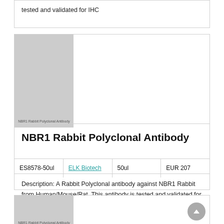tested and validated for IHC
[Figure (photo): NBR1 Rabbit Polyclonal Antibody product image placeholder (gray)]
NBR1 Rabbit Polyclonal Antibody
| ES8578-50ul | ELK Biotech | 50ul | EUR 207 |
| --- | --- | --- | --- |
Description: A Rabbit Polyclonal antibody against NBR1 Rabbit from Human/Mouse/Rat. This antibody is tested and validated for IHC
[Figure (photo): NBR1 Rabbit Polyclonal Antibody product image placeholder (gray), partial view]